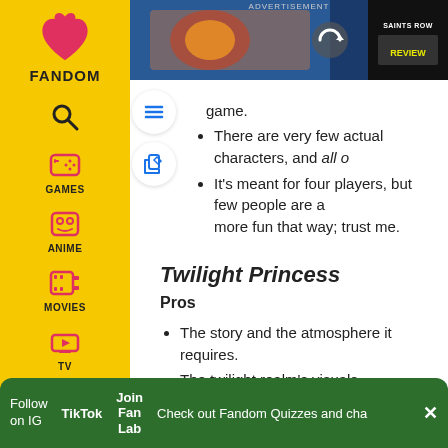ADVERTISEMENT
game.
There are very few actual characters, and all o
It's meant for four players, but few people are a more fun that way; trust me.
Twilight Princess
Pros
The story and the atmosphere it requires.
The twilight realm's visuals.
Double Clawshots. Heck yes.
The City in the Sky, for housing a second Claw
The Temple of Time, for being an even better d
Follow on IG   TikTok   Join Fan Lab   Check out Fandom Quizzes and cha   ×